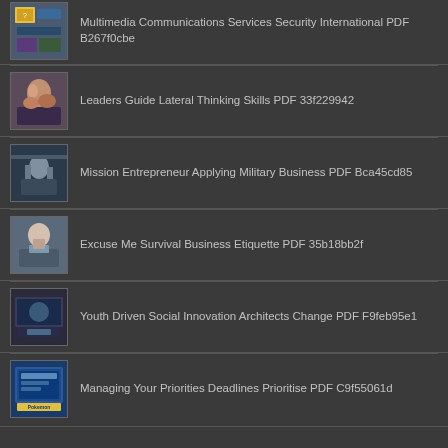Multimedia Communications Services Security International PDF B267f0cbe
Leaders Guide Lateral Thinking Skills PDF 33f229942
Mission Entrepreneur Applying Military Business PDF Bca45cd85
Excuse Me Survival Business Etiquette PDF 35b18bb2f
Youth Driven Social Innovation Architects Change PDF F9feb95e1
Managing Your Priorities Deadlines Prioritise PDF C9f55061d